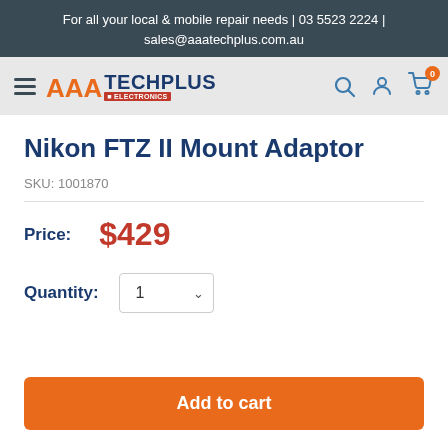For all your local & mobile repair needs | 03 5523 2224 | sales@aaatechplus.com.au
[Figure (logo): AAA TechPlus logo with navigation bar including hamburger menu, search icon, account icon, and cart icon with badge showing 0]
Nikon FTZ II Mount Adaptor
SKU: 1001870
Price: $429
Quantity: 1
Add to cart